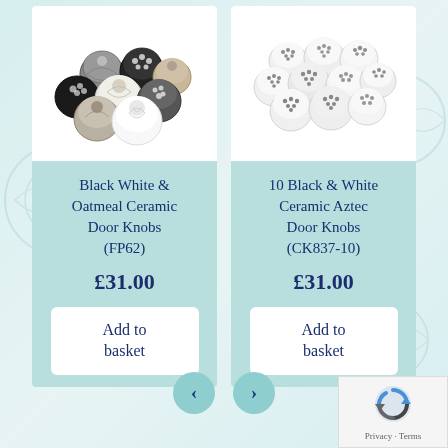[Figure (photo): Photo of Black White & Oatmeal Ceramic Door Knobs, a collection of patterned ceramic knobs in black, white, and oatmeal colors]
Black White & Oatmeal Ceramic Door Knobs (FP62)
£31.00
Add to basket
[Figure (photo): Photo of 10 Black & White Ceramic Aztec Door Knobs, white ceramic knobs with black aztec patterns arranged in a cluster]
10 Black & White Ceramic Aztec Door Knobs (CK837-10)
£31.00
Add to basket
[Figure (other): Navigation previous button (chevron left)]
[Figure (other): Navigation next button (chevron right)]
[Figure (other): reCAPTCHA privacy badge with Privacy and Terms links]